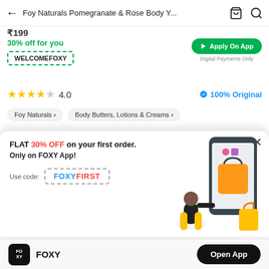← Foy Naturals Pomegranate & Rose Body Y...
₹199
30% off for you
WELCOMEFOXY
Apply On App
Digital Payments Only
4.0  100% Original
Foy Naturals >  Body Butters, Lotions & Creams >
[Figure (infographic): Promotional modal popup with illustration of a person using a phone with shopping items. Text: FLAT 30% OFF on your first order. Only on FOXY App! Use code: FOXYFIRST]
FOXY  Open App